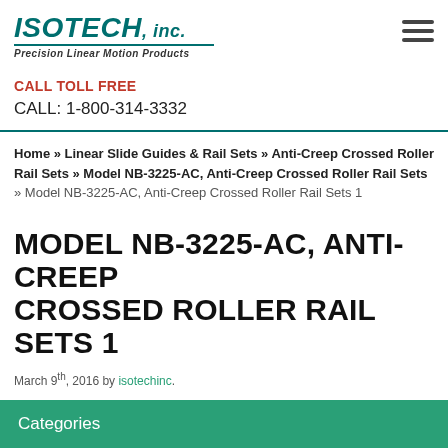ISOTECH, inc. — Precision Linear Motion Products
CALL TOLL FREE
CALL: 1-800-314-3332
Home » Linear Slide Guides & Rail Sets » Anti-Creep Crossed Roller Rail Sets » Model NB-3225-AC, Anti-Creep Crossed Roller Rail Sets » Model NB-3225-AC, Anti-Creep Crossed Roller Rail Sets 1
MODEL NB-3225-AC, ANTI-CREEP CROSSED ROLLER RAIL SETS 1
March 9th, 2016 by isotechinc.
Categories